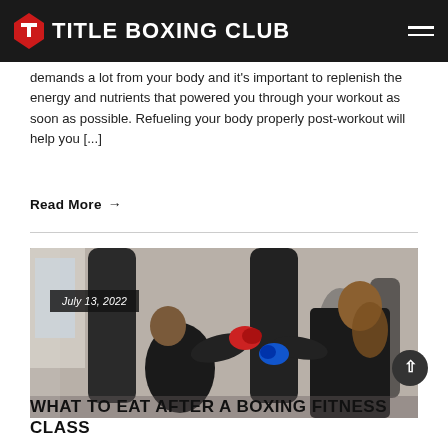TITLE BOXING CLUB
demands a lot from your body and it's important to replenish the energy and nutrients that powered you through your workout as soon as possible. Refueling your body properly post-workout will help you [...]
Read More →
[Figure (photo): Two boxers sparring with punching bags in a boxing gym. A man in black clothing with red gloves punches a heavy bag while a woman with long hair in black outfit wearing blue gloves trains in the background.]
July 13, 2022
WHAT TO EAT AFTER A BOXING FITNESS CLASS